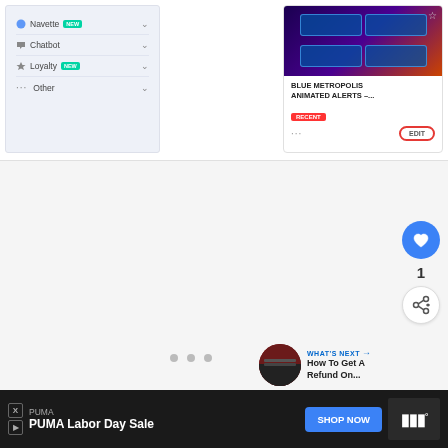[Figure (screenshot): Left sidebar navigation panel with items: Navette (NEW badge), Chatbot, Loyalty (NEW badge), Other — on a light blue background]
[Figure (screenshot): Product card for 'BLUE METROPOLIS ANIMATED ALERTS -...' with purple/orange gradient image, RECENT badge in red, and EDIT button with red border]
[Figure (screenshot): White/gray content area with like button (blue circle, heart icon), count of 1, share button, and What's Next section showing 'How To Get A Refund On...']
[Figure (screenshot): Advertisement banner: PUMA Labor Day Sale with SHOP NOW blue button and Tidal logo on dark background]